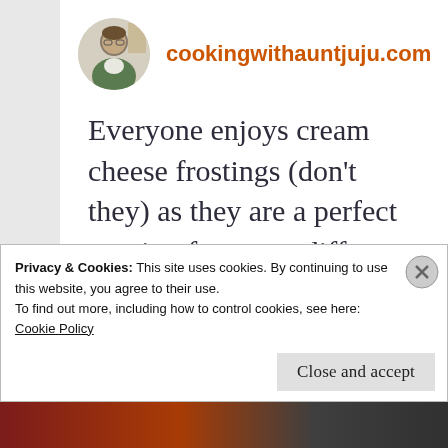cookingwithauntjuju.com
Everyone enjoys cream cheese frostings (don't they) as they are a perfect topping for many different flavors of
Privacy & Cookies: This site uses cookies. By continuing to use this website, you agree to their use.
To find out more, including how to control cookies, see here:
Cookie Policy
Close and accept